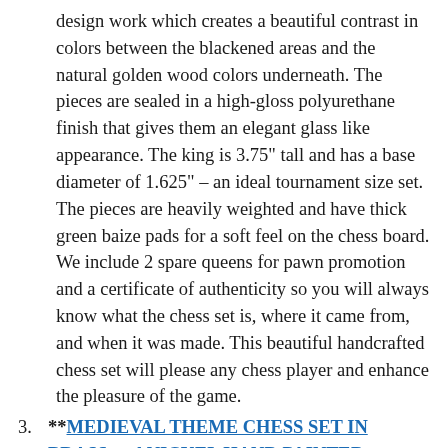design work which creates a beautiful contrast in colors between the blackened areas and the natural golden wood colors underneath. The pieces are sealed in a high-gloss polyurethane finish that gives them an elegant glass like appearance. The king is 3.75" tall and has a base diameter of 1.625" – an ideal tournament size set. The pieces are heavily weighted and have thick green baize pads for a soft feel on the chess board. We include 2 spare queens for pawn promotion and a certificate of authenticity so you will always know what the chess set is, where it came from, and when it was made. This beautiful handcrafted chess set will please any chess player and enhance the pleasure of the game.
3. **MEDIEVAL THEME CHESS SET IN BRASS and NICKEL HAND PAINTED PIECES from thechessstore. Price: $259.95. Discount: $90.00. Categories: Games, Chess, Chess Board, Sponsored, Deal Rating: 5 Stars